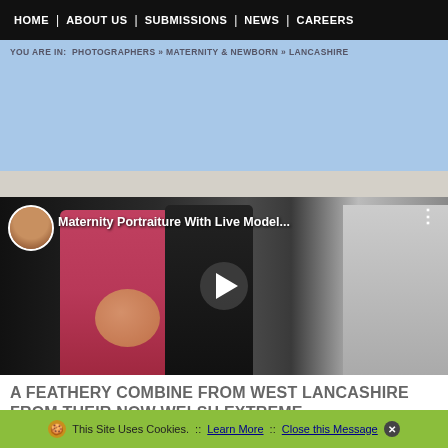HOME | ABOUT US | SUBMISSIONS | NEWS | CAREERS
YOU ARE IN:  PHOTOGRAPHERS » MATERNITY & NEWBORN » LANCASHIRE
[Figure (screenshot): Video thumbnail for 'Maternity Portraiture With Live Model...' with a circular avatar of a smiling person, three-dot menu icon, play button, and figures including a pregnant woman in a pink top]
A FEATHERY COMBINE FROM WEST LANCASHIRE FROM THEIR NOW WELSH EXTREME PHOTOGRAPHER
This Site Uses Cookies.  ::  Learn More  ::  Close this Message ✕